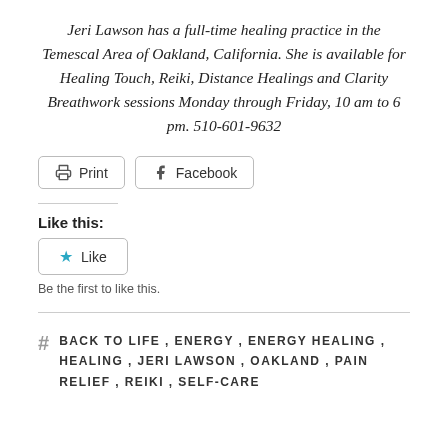Jeri Lawson has a full-time healing practice in the Temescal Area of Oakland, California. She is available for Healing Touch, Reiki, Distance Healings and Clarity Breathwork sessions Monday through Friday, 10 am to 6 pm. 510-601-9632
[Figure (other): Print and Facebook social sharing buttons]
Like this:
[Figure (other): Like button widget with star icon]
Be the first to like this.
# BACK TO LIFE, ENERGY, ENERGY HEALING, HEALING, JERI LAWSON, OAKLAND, PAIN RELIEF, REIKI, SELF-CARE